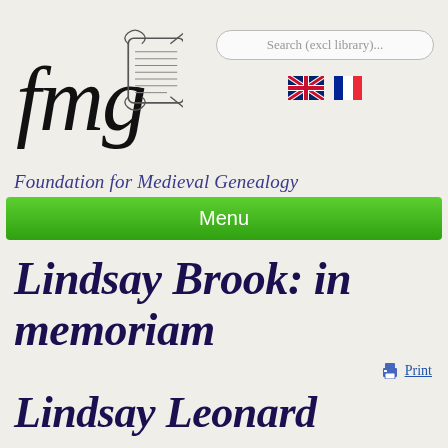[Figure (logo): FMG (Foundation for Medieval Genealogy) logo: italic fmg text with a medieval scroll illustration]
[Figure (screenshot): Search box with placeholder text 'Search (excl library)...' and two flag icons (UK and French flags)]
Foundation for Medieval Genealogy
Menu
Lindsay Brook: in memoriam
Print
Lindsay Leonard